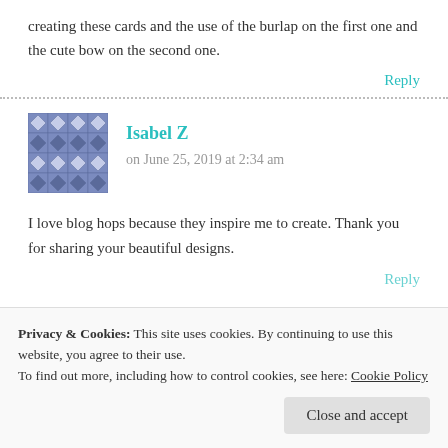creating these cards and the use of the burlap on the first one and the cute bow on the second one.
Reply
Isabel Z
on June 25, 2019 at 2:34 am
I love blog hops because they inspire me to create. Thank you for sharing your beautiful designs.
Reply
Privacy & Cookies: This site uses cookies. By continuing to use this website, you agree to their use.
To find out more, including how to control cookies, see here: Cookie Policy
Close and accept